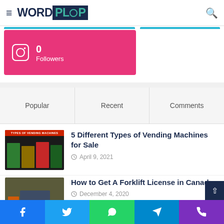WORDPLOP
[Figure (screenshot): Instagram followers widget showing 0 Followers on pink background]
Popular | Recent | Comments
[Figure (photo): Thumbnail showing types of vending machines with red label 'TYPES OF VENDING MACHINES']
5 Different Types of Vending Machines for Sale
April 9, 2021
[Figure (photo): Thumbnail of person in orange vest on forklift]
How to Get A Forklift License in Canada
December 4, 2020
Facebook | Twitter | WhatsApp | Telegram | Phone